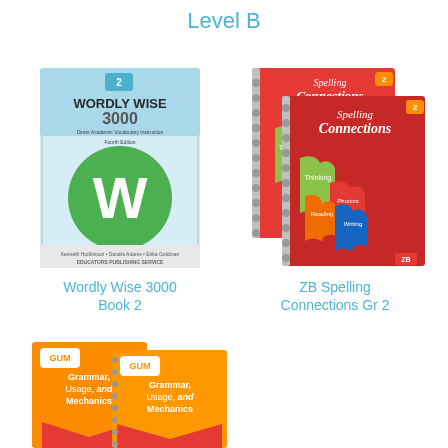Level B
[Figure (photo): Cover of Wordly Wise 3000 Book 2 textbook with green circle and WW logo on blue background]
[Figure (photo): Two copies of ZB Spelling Connections Grade 2 workbooks with red covers showing puzzle piece design with Thinking, Reading, Phonics, Writing labels]
Wordly Wise 3000 Book 2
ZB Spelling Connections Gr 2
[Figure (photo): Two copies of GUM Grammar, Usage, and Mechanics books with orange covers]